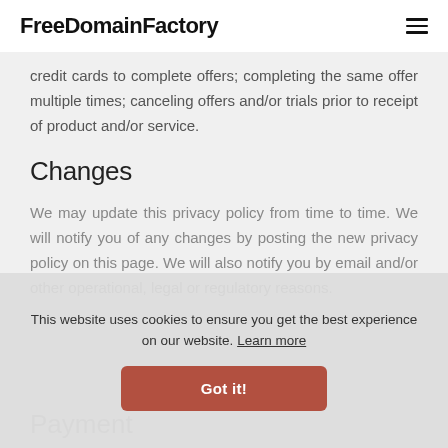FreeDomainFactory
credit cards to complete offers; completing the same offer multiple times; canceling offers and/or trials prior to receipt of product and/or service.
Changes
We may update this privacy policy from time to time. We will notify you of any changes by posting the new privacy policy on this page. We will also notify you by email and/or other operational, legal or regulatory reasons.
Payment
This website uses cookies to ensure you get the best experience on our website. Learn more
Got it!